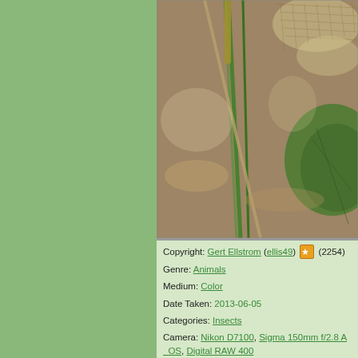[Figure (photo): Close-up macro photo of a dragonfly on green plant stems and leaves, with blurred background of forest floor debris]
Photo Information
Copyright: Gert Ellstrom (ellis49) (2254)
Genre: Animals
Medium: Color
Date Taken: 2013-06-05
Categories: Insects
Camera: Nikon D7100, Sigma 150mm f/2.8 A OS, Digital RAW 400
Exposure: f/11, 1/200...